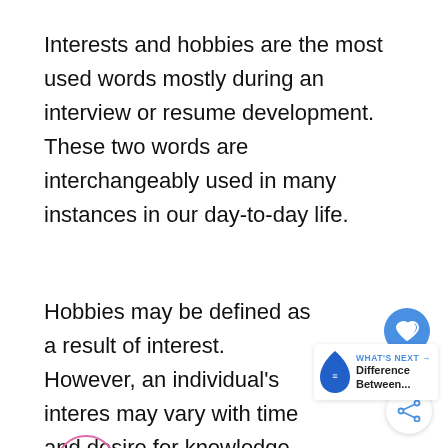Interests and hobbies are the most used words mostly during an interview or resume development. These two words are interchangeably used in many instances in our day-to-day life.
Hobbies may be defined as a result of interest. However, an individual's interes may vary with time and desire for knowledge.